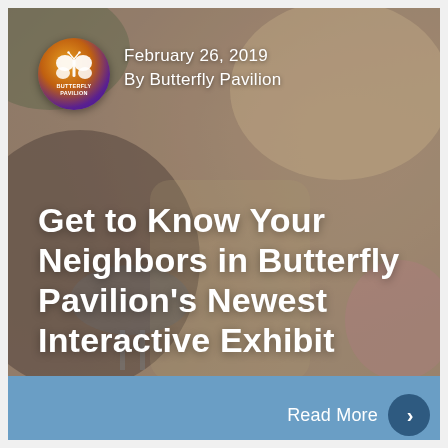[Figure (photo): Outdoor backyard/neighborhood scene with blurred people, barbeque grill, and plants. Serves as hero background image with a blue-toned overlay.]
February 26, 2019
By Butterfly Pavilion
Get to Know Your Neighbors in Butterfly Pavilion's Newest Interactive Exhibit
Read More